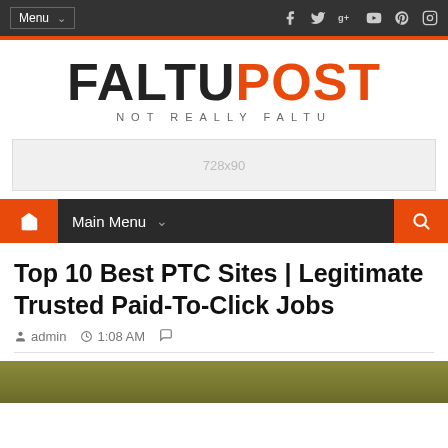Menu | Social icons: Facebook, Twitter, Google+, YouTube, Pinterest, Instagram
[Figure (logo): FaltuPost logo — FALTU in black bold, POST in orange bold, subtitle NOT REALLY FALTU]
[Figure (other): Ad placeholder 728x90]
Home | Main Menu | Search
Top 10 Best PTC Sites | Legitimate Trusted Paid-To-Click Jobs
admin  1:08 AM
[Figure (photo): Article header image — olive/khaki colored background strip]